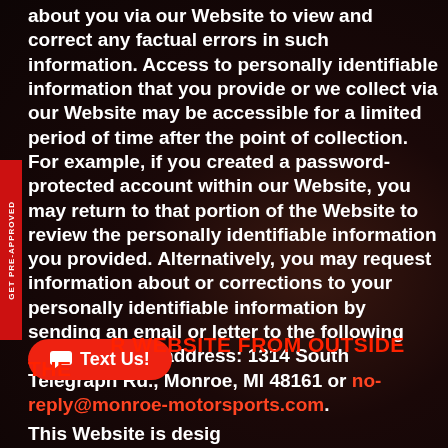about you via our Website to view and correct any factual errors in such information. Access to personally identifiable information that you provide or we collect via our Website may be accessible for a limited period of time after the point of collection. For example, if you created a password-protected account within our Website, you may return to that portion of the Website to review the personally identifiable information you provided. Alternatively, you may request information about or corrections to your personally identifiable information by sending an email or letter to the following street or email address: 1314 South Telegraph Rd., Monroe, MI 48161 or no-reply@monroe-motorsports.com.
R WEBSITE FROM OUTSIDE THE
This Website is designed for and intended to be used...